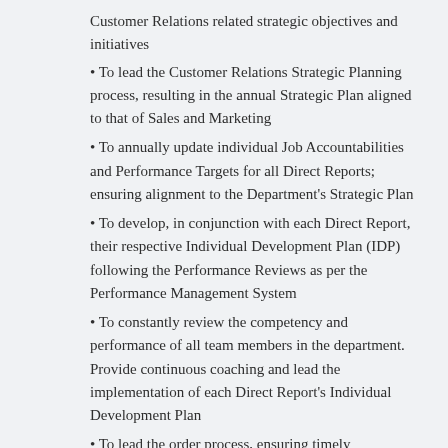Customer Relations related strategic objectives and initiatives
To lead the Customer Relations Strategic Planning process, resulting in the annual Strategic Plan aligned to that of Sales and Marketing
To annually update individual Job Accountabilities and Performance Targets for all Direct Reports; ensuring alignment to the Department's Strategic Plan
To develop, in conjunction with each Direct Report, their respective Individual Development Plan (IDP) following the Performance Reviews as per the Performance Management System
To constantly review the competency and performance of all team members in the department. Provide continuous coaching and lead the implementation of each Direct Report's Individual Development Plan
To lead the order process, ensuring timely turnaround of orders to satisfy customers and maximize cash flow
To lead the Customer Complaints Resolution process,